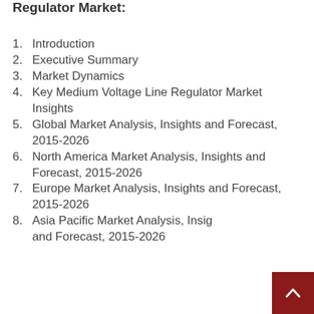Regulator Market:
Introduction
Executive Summary
Market Dynamics
Key Medium Voltage Line Regulator Market Insights
Global Market Analysis, Insights and Forecast, 2015-2026
North America Market Analysis, Insights and Forecast, 2015-2026
Europe Market Analysis, Insights and Forecast, 2015-2026
Asia Pacific Market Analysis, Insights and Forecast, 2015-2026